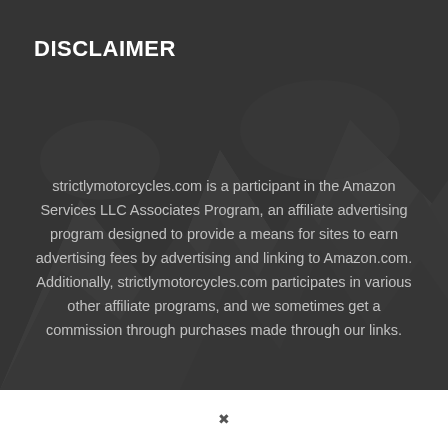DISCLAIMER
strictlymotorcycles.com is a participant in the Amazon Services LLC Associates Program, an affiliate advertising program designed to provide a means for sites to earn advertising fees by advertising and linking to Amazon.com. Additionally, strictlymotorcycles.com participates in various other affiliate programs, and we sometimes get a commission through purchases made through our links.